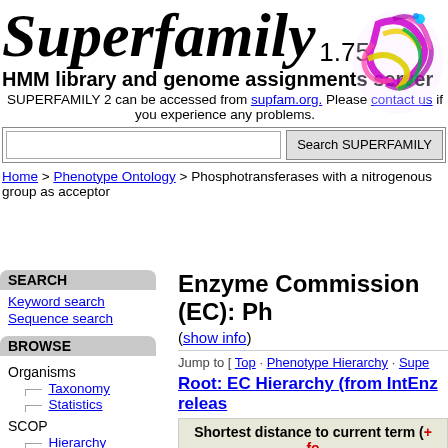Superfamily 1.75
HMM library and genome assignments server
SUPERFAMILY 2 can be accessed from supfam.org. Please contact us if you experience any problems.
Search SUPERFAMILY [search bar]
Home > Phenotype Ontology > Phosphotransferases with a nitrogenous group as acceptor
SEARCH
Keyword search
Sequence search
BROWSE
Organisms
Taxonomy
Statistics
SCOP
Hierarchy
Ontologies
Enzyme Commission (EC): Ph
(show info)
Jump to [ Top · Phenotype Hierarchy · Supe
Root: EC Hierarchy (from IntEnz releas
Shortest distance to current term (+ for parents, - for children)
+ + +
+ + +